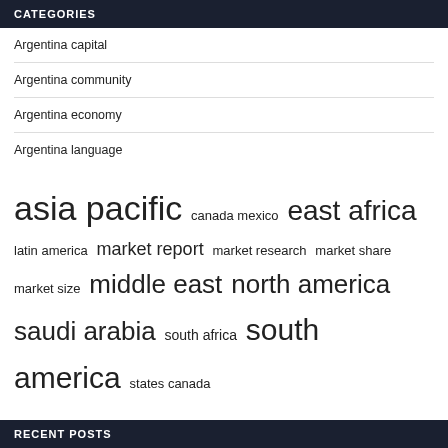CATEGORIES
Argentina capital
Argentina community
Argentina economy
Argentina language
asia pacific  canada mexico  east africa  latin america  market report  market research  market share  market size  middle east  north america  saudi arabia  south africa  south america  states canada  united states
RECENT POSTS